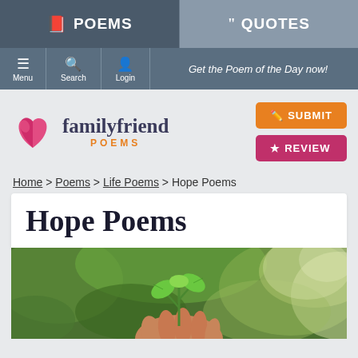POEMS | QUOTES
Menu | Search | Login | Get the Poem of the Day now!
[Figure (logo): FamilyFriend Poems logo with heart icon]
SUBMIT
REVIEW
Home > Poems > Life Poems > Hope Poems
Hope Poems
[Figure (photo): Hand holding a small green plant seedling against a blurred green bokeh background]